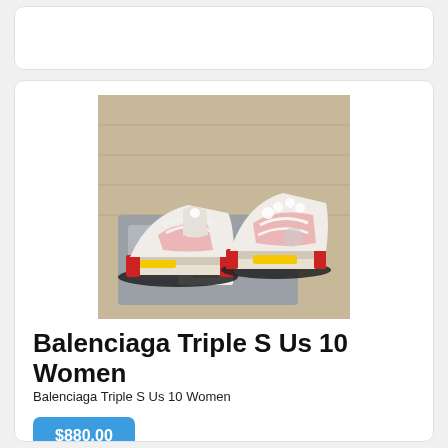[Figure (photo): Photo of Balenciaga Triple S sneakers in white, pink, yellow and red colorway, displayed on a grey dust bag with a Balenciaga tag/card]
Balenciaga Triple S Us 10 Women
Balenciaga Triple S Us 10 Women
$880.00